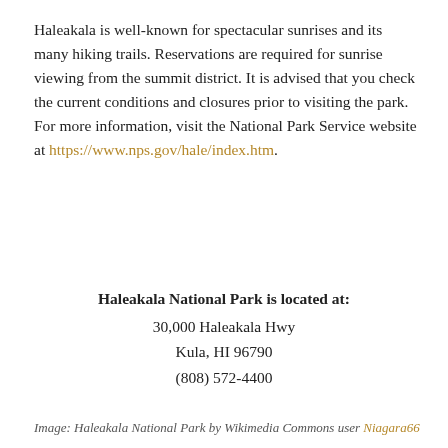Haleakala is well-known for spectacular sunrises and its many hiking trails. Reservations are required for sunrise viewing from the summit district. It is advised that you check the current conditions and closures prior to visiting the park. For more information, visit the National Park Service website at https://www.nps.gov/hale/index.htm.
Haleakala National Park is located at:
30,000 Haleakala Hwy
Kula, HI 96790
(808) 572-4400
Image: Haleakala National Park by Wikimedia Commons user Niagara66